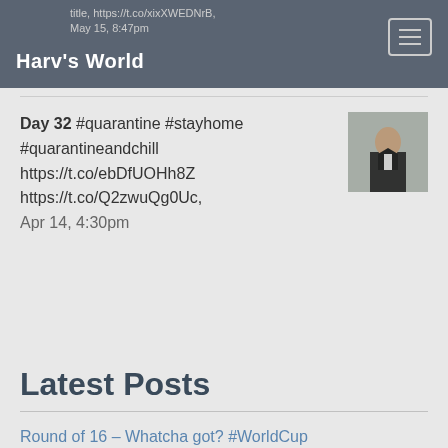Harv's World
title, https://t.co/xixXWEDNrB, May 15, 8:47pm
Day 32 #quarantine #stayhome #quarantineandchill https://t.co/ebDfUOHh8Z https://t.co/Q2zwuQg0Uc, Apr 14, 4:30pm
[Figure (photo): Thumbnail image of a person in dark clothing]
Latest Posts
Round of 16 – Whatcha got? #WorldCup
Matchday 3 – The only way out is through #WorldCup